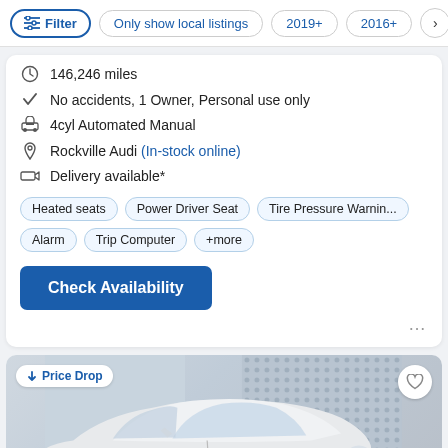Filter | Only show local listings | 2019+ | 2016+
146,246 miles
No accidents, 1 Owner, Personal use only
4cyl Automated Manual
Rockville Audi (In-stock online)
Delivery available*
Heated seats | Power Driver Seat | Tire Pressure Warnin... | Alarm | Trip Computer | +more
Check Availability
[Figure (photo): White sedan car photo with Price Drop badge and heart/favorite button]